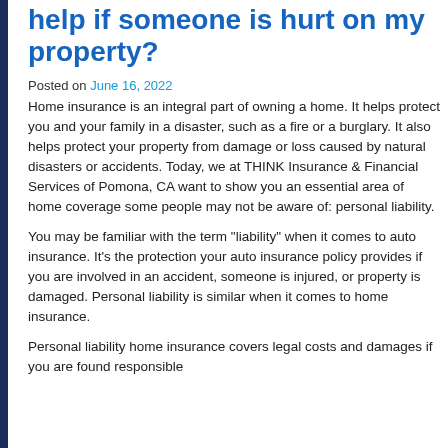help if someone is hurt on my property?
Posted on June 16, 2022
Home insurance is an integral part of owning a home. It helps protect you and your family in a disaster, such as a fire or a burglary. It also helps protect your property from damage or loss caused by natural disasters or accidents. Today, we at THINK Insurance & Financial Services of Pomona, CA want to show you an essential area of home coverage some people may not be aware of: personal liability.
You may be familiar with the term "liability" when it comes to auto insurance. It's the protection your auto insurance policy provides if you are involved in an accident, someone is injured, or property is damaged. Personal liability is similar when it comes to home insurance.
Personal liability home insurance covers legal costs and damages if you are found responsible